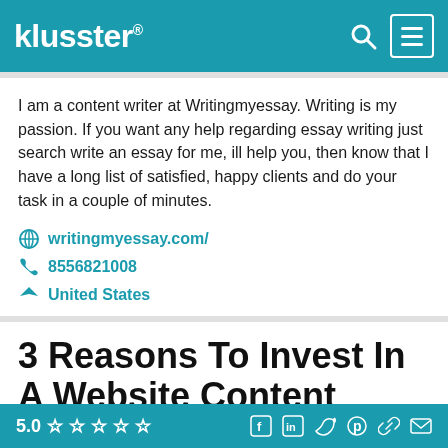klusster®
I am a content writer at Writingmyessay. Writing is my passion. If you want any help regarding essay writing just search write an essay for me, ill help you, then know that I have a long list of satisfied, happy clients and do your task in a couple of minutes.
writingmyessay.com/
8556821008
United States
3 Reasons To Invest In A Website Content Writing
5.0 ☆☆☆☆☆